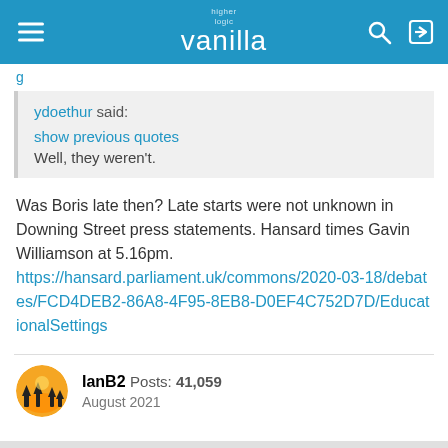higher logic vanilla
ydoethur said:
show previous quotes
Well, they weren't.
Was Boris late then? Late starts were not unknown in Downing Street press statements. Hansard times Gavin Williamson at 5.16pm.
https://hansard.parliament.uk/commons/2020-03-18/debates/FCD4DEB2-86A8-4F95-8EB8-D0EF4C752D7D/EducationalSettings
IanB2  Posts: 41,059
August 2021